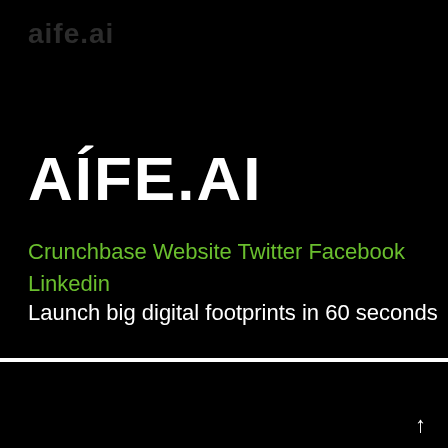AÍFE.AI
Crunchbase Website Twitter Facebook Linkedin
Launch big digital footprints in 60 seconds